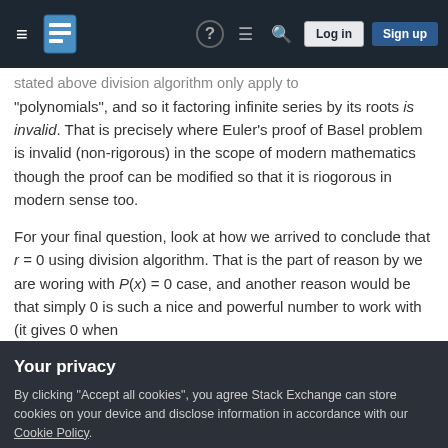Navigation bar with hamburger menu, Stack Exchange logo, help, review, search icons, Log in and Sign up buttons
stated above division algorithm only apply to "polynomials", and so it factoring infinite series by its roots is invalid. That is precisely where Euler's proof of Basel problem is invalid (non-rigorous) in the scope of modern mathematics though the proof can be modified so that it is riogorous in modern sense too.
For your final question, look at how we arrived to conclude that r = 0 using division algorithm. That is the part of reason by we are woring with P(x) = 0 case, and another reason would be that simply 0 is such a nice and powerful number to work with (it gives 0 when
Your privacy
By clicking "Accept all cookies", you agree Stack Exchange can store cookies on your device and disclose information in accordance with our Cookie Policy.
show that following: